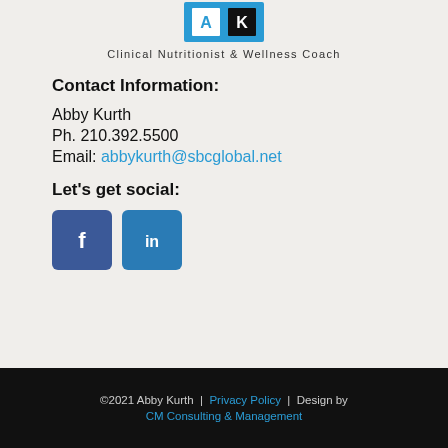[Figure (logo): Abby Kurth Clinical Nutritionist & Wellness Coach logo with blue icon]
Clinical Nutritionist & Wellness Coach
Contact Information:
Abby Kurth
Ph. 210.392.5500
Email: abbykurth@sbcglobal.net
Let's get social:
[Figure (illustration): Facebook and LinkedIn social media icon buttons]
©2021 Abby Kurth | Privacy Policy | Design by CM Consulting & Management